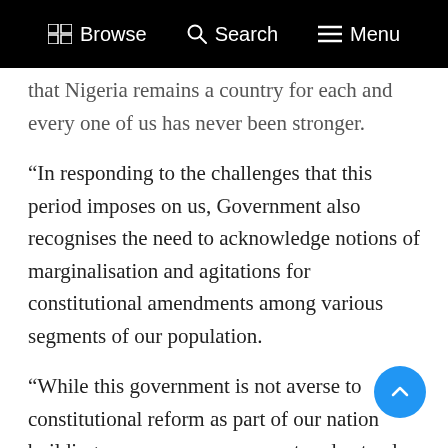Browse  Search  Menu
that Nigeria remains a country for each and every one of us has never been stronger.
“In responding to the challenges that this period imposes on us, Government also recognises the need to acknowledge notions of marginalisation and agitations for constitutional amendments among various segments of our population.
“While this government is not averse to constitutional reform as part of our nation building process, everyone must understand that the primary responsibility for constitutional amendments lies with the National Assembly.